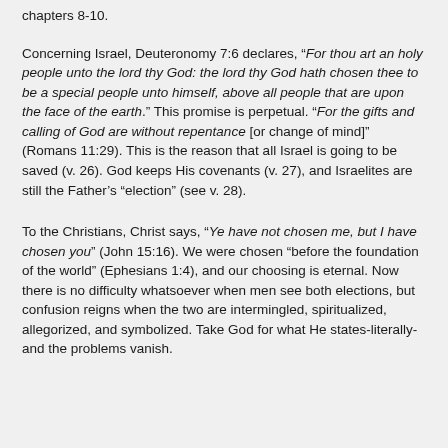chapters 8-10.
Concerning Israel, Deuteronomy 7:6 declares, “For thou art an holy people unto the lord thy God: the lord thy God hath chosen thee to be a special people unto himself, above all people that are upon the face of the earth.” This promise is perpetual. “For the gifts and calling of God are without repentance [or change of mind]” (Romans 11:29). This is the reason that all Israel is going to be saved (v. 26). God keeps His covenants (v. 27), and Israelites are still the Father’s “election” (see v. 28).
To the Christians, Christ says, “Ye have not chosen me, but I have chosen you” (John 15:16). We were chosen “before the foundation of the world” (Ephesians 1:4), and our choosing is eternal. Now there is no difficulty whatsoever when men see both elections, but confusion reigns when the two are intermingled, spiritualized, allegorized, and symbolized. Take God for what He states-literally-and the problems vanish.